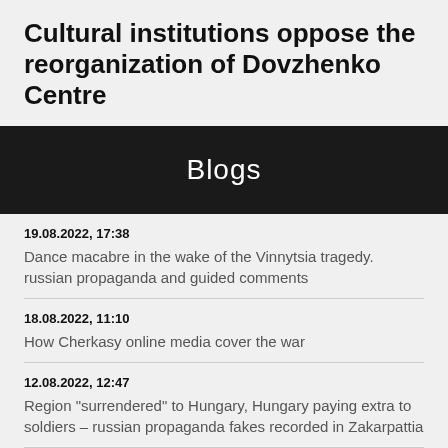Cultural institutions oppose the reorganization of Dovzhenko Centre
Blogs
19.08.2022, 17:38
Dance macabre in the wake of the Vinnytsia tragedy. russian propaganda and guided comments
18.08.2022, 11:10
How Cherkasy online media cover the war
12.08.2022, 12:47
Region "surrendered" to Hungary, Hungary paying extra to soldiers – russian propaganda fakes recorded in Zakarpattia